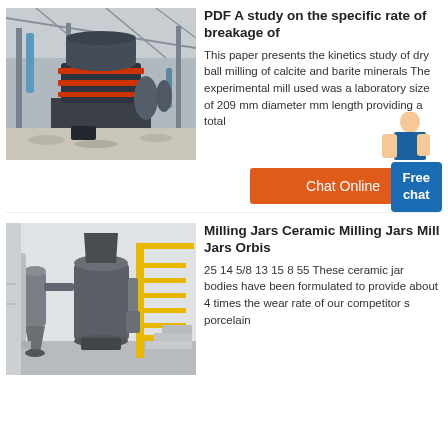[Figure (photo): Industrial cone crusher / milling machine in a large factory hall with gravel on the floor]
PDF A study on the specific rate of breakage of
This paper presents the kinetics study of dry ball milling of calcite and barite minerals The experimental mill used was a laboratory size of 209 mm diameter mm length providing a total
[Figure (infographic): Customer service representative figure with Free chat button overlay in blue]
Chat Online
[Figure (photo): Industrial milling/grinding machine with cyclone separator and yellow staircase in a white building interior]
Milling Jars Ceramic Milling Jars Mill Jars Orbis
25 14 5/8 13 15 8 55 These ceramic jar bodies have been formulated to provide about 4 times the wear rate of our competitor s porcelain